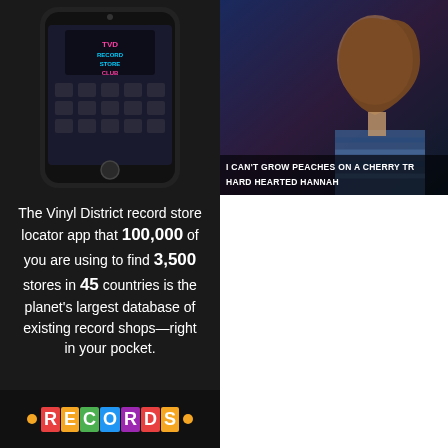[Figure (photo): Left column with dark background showing a smartphone displaying the Vinyl District Record Store Club app interface]
The Vinyl District record store locator app that 100,000 of you are using to find 3,500 stores in 45 countries is the planet's largest database of existing record shops—right in your pocket.
[Figure (photo): Records bar at the bottom of left column with orange dots and colorful block letters spelling RECORDS]
[Figure (photo): Album cover photo showing a woman in a striped shirt against dark background with text overlay reading I CAN'T GROW PEACHES ON A CHERRY TR... / HARD HEARTED HANNAH]
Greetings from Laurel Canyon!
You only live twice / Or so it seems / your dreams
You drift through the years / And lif appears / And Love is its name
And love is a stranger / Who'll beck / Or the stranger is gone
This dream is for you / So pay the p live twice